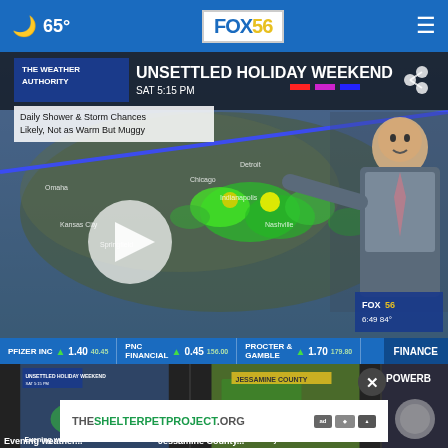🌙 65° | FOX 56 | ≡
[Figure (screenshot): FOX 56 weather broadcast screenshot showing 'UNSETTLED HOLIDAY WEEKEND' weather map with meteorologist pointing at radar. Ticker shows PFIZER INC 1.40, PNC FINANCIAL 0.45, PROCTER & GAMBLE 1.70, FINANCE label. FOX 56 bug shows 6:49, 84°. Play button overlay visible.]
[Figure (screenshot): Thumbnail of weather broadcast - Unsettled Holiday Weekend]
[Figure (screenshot): Thumbnail of Jessamine County story]
[Figure (screenshot): Thumbnail of Powerball story]
THESHELTERPETPROJECT.ORG
Evening weather...
Jessamine County...